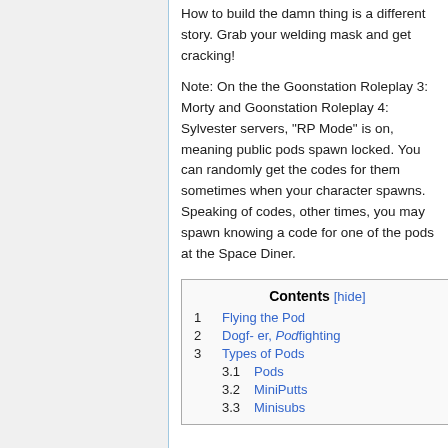How to build the damn thing is a different story. Grab your welding mask and get cracking!
Note: On the the Goonstation Roleplay 3: Morty and Goonstation Roleplay 4: Sylvester servers, "RP Mode" is on, meaning public pods spawn locked. You can randomly get the codes for them sometimes when your character spawns. Speaking of codes, other times, you may spawn knowing a code for one of the pods at the Space Diner.
| Contents [hide] |
| --- |
| 1  Flying the Pod |
| 2  Dogf- er, Podfighting |
| 3  Types of Pods |
| 3.1  Pods |
| 3.2  MiniPutts |
| 3.3  Minisubs |